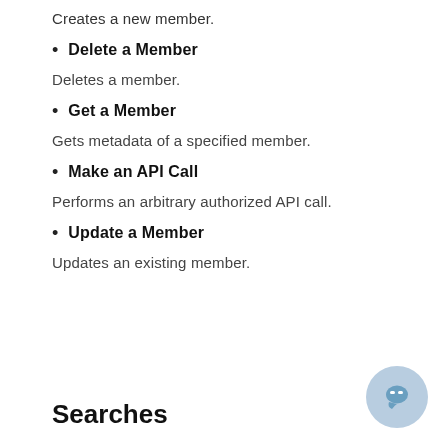Creates a new member.
Delete a Member
Deletes a member.
Get a Member
Gets metadata of a specified member.
Make an API Call
Performs an arbitrary authorized API call.
Update a Member
Updates an existing member.
Searches